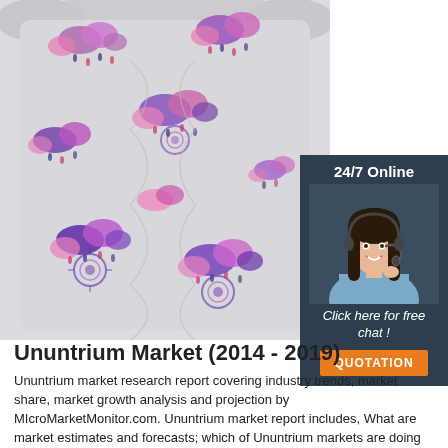[Figure (photo): Close-up photo of a cloth diaper/nappy with a whimsical purple cloud and raindrop print pattern on a light gray background]
[Figure (infographic): Sidebar widget with dark blue-gray background showing '24/7 Online' label, a smiling female customer service agent with headset, 'Click here for free chat!' text in italic, and an orange QUOTATION button]
Ununtrium Market (2014 - 2019)
Ununtrium market research report covering industry trends, market share, market growth analysis and projection by MIcroMarketMonitor.com. Ununtrium market report includes, What are market estimates and forecasts; which of Ununtrium markets are doing well and which are not? and Ununtrium companies.